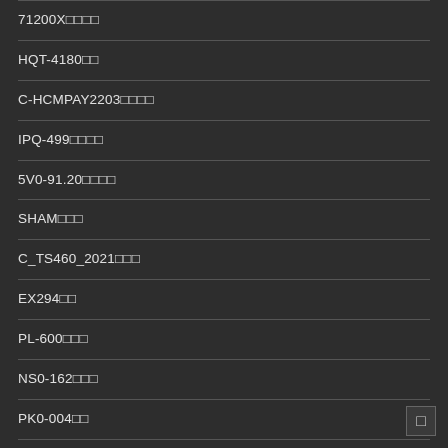71200X試験問題
HQT-4180試験
C-HCMPAY2203試験問題
IPQ-499試験問題
5V0-91.20試験問題
SHAM試験問題
C_TS460_2021試験問
EX294試験
PL-600試験問題
NS0-162試験問題
PK0-004試験
1Z0-909試験問題